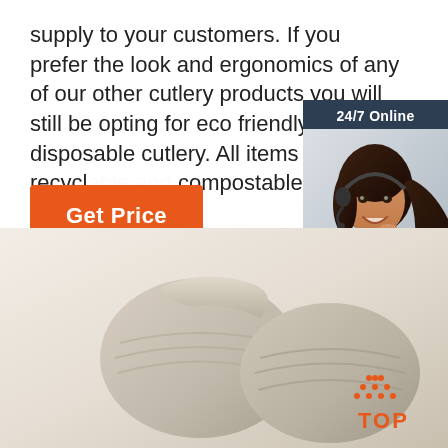supply to your customers. If you prefer the look and ergonomics of any of our other cutlery products you will still be opting for eco friendly disposable cutlery. All items are recycl... compostable ...
Get Price
[Figure (infographic): 24/7 Online chat widget with a photo of a smiling woman with a headset, dark blue background, orange QUOTATION button, and 'Click here for free chat!' text]
[Figure (photo): Beige/tan bamboo cups or bowls stacked, with a TOP logo watermark in orange in the bottom right corner]